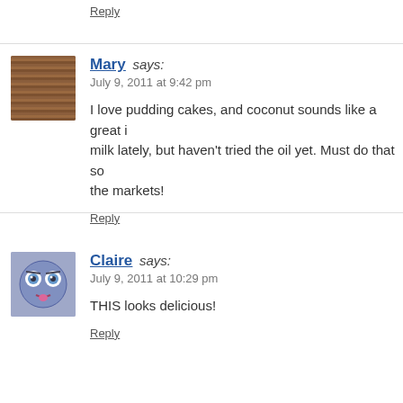Reply
Mary says:
July 9, 2011 at 9:42 pm

I love pudding cakes, and coconut sounds like a great i... milk lately, but haven't tried the oil yet. Must do that so... the markets!

Reply
Claire says:
July 9, 2011 at 10:29 pm

THIS looks delicious!

Reply